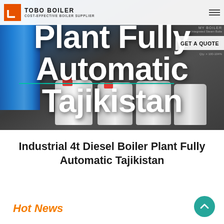[Figure (screenshot): Hero banner image of industrial boiler plant equipment with dark background and white overlay text reading 'Plant Fully Automatic Tajikistan'. Navigation bar at top with TOBO BOILER logo and GET A QUOTE button visible.]
Industrial 4t Diesel Boiler Plant Fully Automatic Tajikistan
Hot News